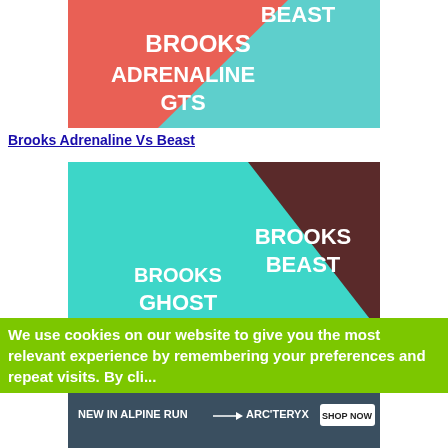[Figure (illustration): Split diagonal graphic with coral/red and teal sections. White bold text reads BROOKS ADRENALINE GTS on the left, partially visible BEAST on the top right.]
Brooks Adrenaline Vs Beast
[Figure (illustration): Split diagonal graphic with dark maroon and teal sections. White bold text: BROOKS BEAST on upper right, BROOKS GHOST on lower left.]
We use cookies on our website to give you the most relevant experience by remembering your preferences and repeat visits. By cli...
[Figure (illustration): Arc'teryx advertisement banner: NEW IN ALPINE RUN → ARC'TERYX with SHOP NOW button, mountain background with runners.]